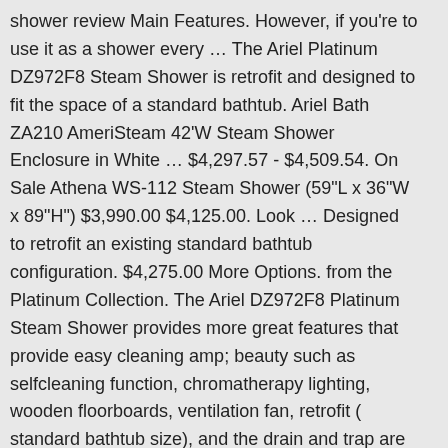shower review Main Features. However, if you're to use it as a shower every … The Ariel Platinum DZ972F8 Steam Shower is retrofit and designed to fit the space of a standard bathtub. Ariel Bath ZA210 AmeriSteam 42'W Steam Shower Enclosure in White … $4,297.57 - $4,509.54. On Sale Athena WS-112 Steam Shower (59"L x 36"W x 89"H") $3,990.00 $4,125.00. Look … Designed to retrofit an existing standard bathtub configuration. $4,275.00 More Options. from the Platinum Collection. The Ariel DZ972F8 Platinum Steam Shower provides more great features that provide easy cleaning amp; beauty such as selfcleaning function, chromatherapy lighting, wooden floorboards, ventilation fan, retrofit ( standard bathtub size), and the drain and trap are included. Finish: Choose Finish - Special Order. Have the ultimate showering experience at your fingertips without the expensive upgrades a custom steam shower would require. Welcome the health benefits and relaxing effects of steam into your daily life. The hardwood ceiling and floor combined with chrome trim will add immediate distinction to any bathroom. Additional Information Reviews / … SAVE … The hard wood ceiling and floor combined paired